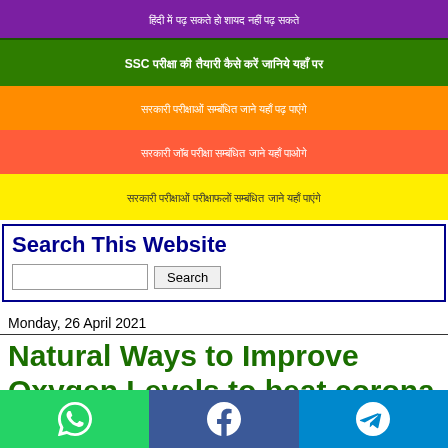हिंदी में पढ़ सकते हो शायद नहीं पढ़ सकते
SSC परीक्षा की तैयारी कैसे करें जानिये यहाँ पर
सरकारी परीक्षाओं सम्बंधित जाने यहाँ पढ़ पाएंगे
सरकारी जॉब परीक्षा सम्बंधित जाने यहाँ पाओगे
सरकारी परीक्षाओं परीक्षाफलों सम्बंधित जाने यहाँ पाएंगे
Search This Website
Monday, 26 April 2021
Natural Ways to Improve Oxygen Levels to beat corona